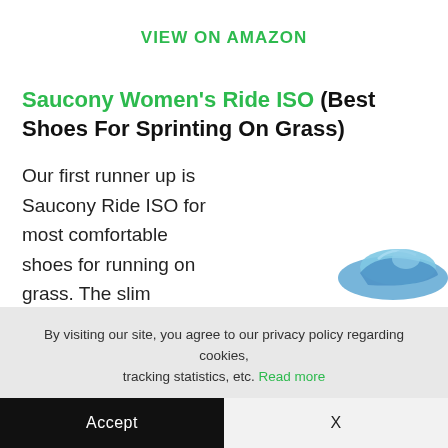VIEW ON AMAZON
Saucony Women's Ride ISO (Best Shoes For Sprinting On Grass)
Our first runner up is Saucony Ride ISO for most comfortable shoes for running on grass. The slim
[Figure (photo): Partial image of a blue athletic running shoe (Saucony Women's Ride ISO) visible at the bottom right of the page.]
By visiting our site, you agree to our privacy policy regarding cookies, tracking statistics, etc. Read more
Accept
X